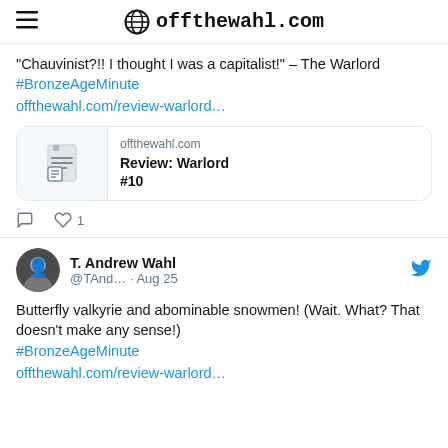offthewahl.com
“Chauvinist?!! I thought I was a capitalist!” – The Warlord #BronzeAgeMinute offthewahl.com/review-warlord…
[Figure (screenshot): Link card showing offthewahl.com domain and title 'Review: Warlord #10' with a document icon]
1 like
T. Andrew Wahl @TAnd… · Aug 25 - Butterfly valkyrie and abominable snowmen! (Wait. What? That doesn't make any sense!) #BronzeAgeMinute offthewahl.com/review-warlord…